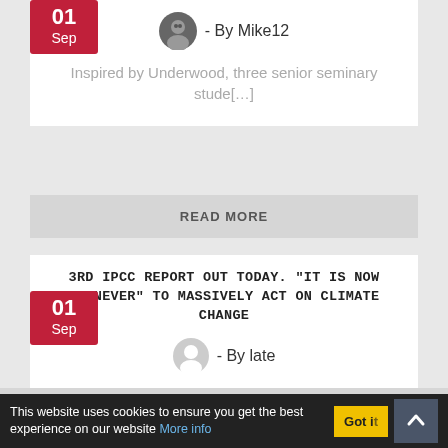- By Mike12
Inspired by Underwood, three senior seminary stude[…]
READ MORE
3RD IPCC REPORT OUT TODAY. "IT IS NOW OR NEVER" TO MASSIVELY ACT ON CLIMATE CHANGE
- By late
This one seems to be already disproven. Mor[…]
READ MORE
VIEW MORE TOPICS
This website uses cookies to ensure you get the best experience on our website More info
Got it